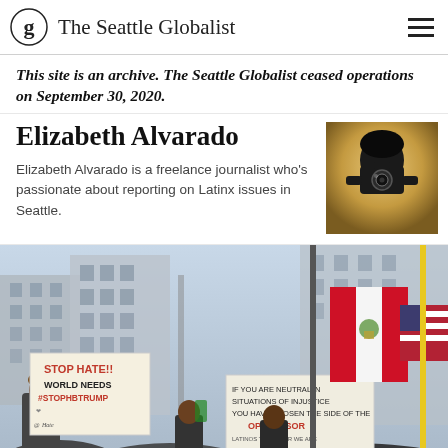The Seattle Globalist
This site is an archive. The Seattle Globalist ceased operations on September 30, 2020.
Elizabeth Alvarado
[Figure (photo): Person taking a selfie with a DSLR camera obscuring their face, backlit by bright window light.]
Elizabeth Alvarado is a freelance journalist who's passionate about reporting on Latinx issues in Seattle.
[Figure (photo): Protest scene with demonstrators holding signs reading 'STOP HATE!! WORLD NEEDS #STOPHTRUMP' and 'IF YOU ARE NEUTRAL IN SITUATIONS OF INJUSTICE YOU HAVE CHOSEN THE SIDE OF THE OPPRESSOR LATINOS TOGETHER WE ARE...' along with Peruvian and American flags, city buildings in background.]